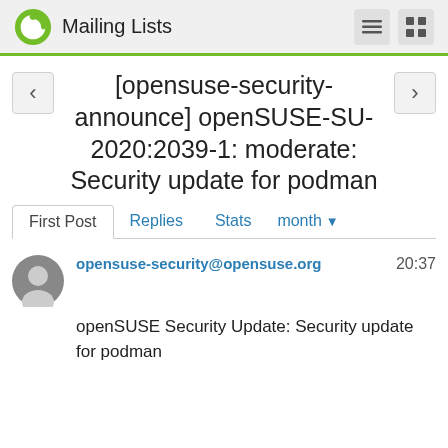Mailing Lists
[opensuse-security-announce] openSUSE-SU-2020:2039-1: moderate: Security update for podman
First Post  Replies  Stats  month
opensuse-security@opensuse.org  20:37
openSUSE Security Update: Security update for podman